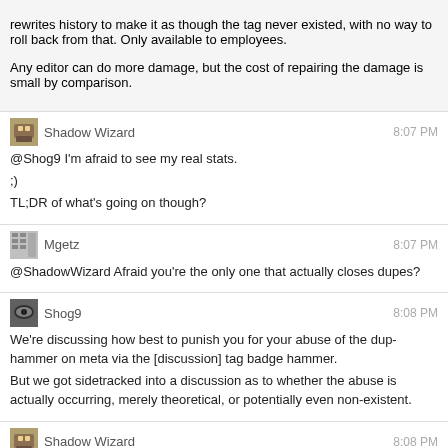rewrites history to make it as though the tag never existed, with no way to roll back from that. Only available to employees.
Any editor can do more damage, but the cost of repairing the damage is small by comparison.
Shadow Wizard 8:07 PM
@Shog9 I'm afraid to see my real stats.
;)
TL;DR of what's going on though?
Mgetz 8:07 PM
@ShadowWizard Afraid you're the only one that actually closes dupes?
Shog9 8:08 PM
We're discussing how best to punish you for your abuse of the dup-hammer on meta via the [discussion] tag badge hammer.
But we got sidetracked into a discussion as to whether the abuse is actually occurring, merely theoretical, or potentially even non-existent.
Shadow Wizard 8:08 PM
@Mgetz nope, to be a "careless badge-closing"...
I mean... it can be.
Shog9 8:09 PM
Needless to say, punishment for a non-existent crime should be swift and brutal. So it is important to establish the nature of the abuse.
Shadow Wizard 8:09 PM